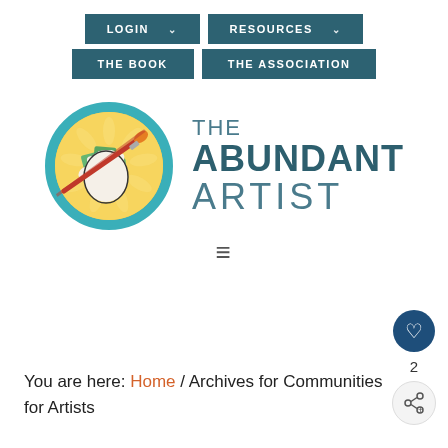LOGIN | RESOURCES | THE BOOK | THE ASSOCIATION
[Figure (logo): The Abundant Artist logo: circular icon with a hand holding a paintbrush with money/bills, teal border, beside text 'THE ABUNDANT ARTIST' in dark teal]
[Figure (infographic): Hamburger menu icon (three horizontal lines)]
You are here: Home / Archives for Communities for Artists